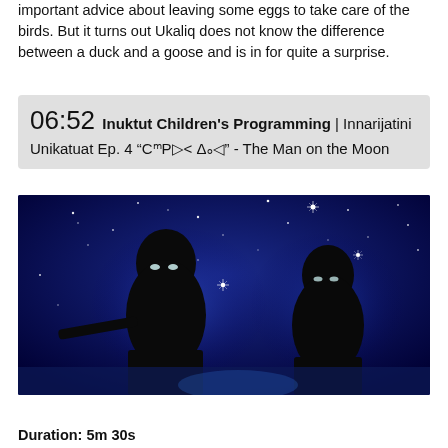important advice about leaving some eggs to take care of the birds. But it turns out Ukaliq does not know the difference between a duck and a goose and is in for quite a surprise.
06:52 Inuktut Children's Programming | Innarijatini Unikatuat Ep. 4 “CᵐP▷< Δₒ◁” - The Man on the Moon
[Figure (photo): Dark scene with two silhouetted figures against a deep blue starry background. Stars are scattered across the image and the figures appear to be holding objects.]
Duration: 5m 30s